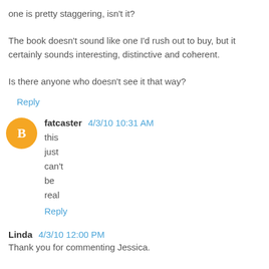one is pretty staggering, isn't it?

The book doesn't sound like one I'd rush out to buy, but it certainly sounds interesting, distinctive and coherent.

Is there anyone who doesn't see it that way?
Reply
fatcaster 4/3/10 10:31 AM
this
just
can't
be
real
Reply
Linda 4/3/10 12:00 PM
Thank you for commenting Jessica.